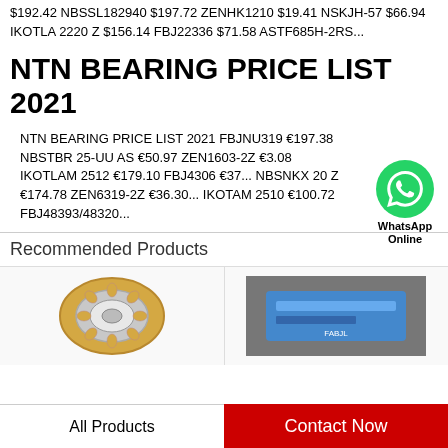$192.42 NBSSL182940 $197.72 ZENHK1210 $19.41 NSKJH-57 $66.94 IKOTLA 2220 Z $156.14 FBJ22336 $71.58 ASTF685H-2RS...
NTN BEARING PRICE LIST 2021
NTN BEARING PRICE LIST 2021 FBJNU319 €197.38 NBSTBR 25-UU AS €50.97 ZEN1603-2Z €3.08 IKOTLAM 2512 €179.10 FBJ4306 €37... NBSNKX 20 Z €174.78 ZEN6319-2Z €36.30... IKOTAM 2510 €100.72 FBJ48393/48320...
[Figure (illustration): WhatsApp Online green circle icon with phone handset and WhatsApp Online label]
Recommended Products
[Figure (photo): Bearing product - cylindrical/roller bearing in gold/silver color]
[Figure (photo): Blue industrial product on grey background]
All Products
Contact Now